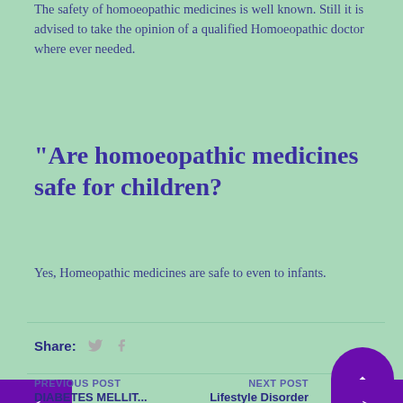The safety of homoeopathic medicines is well known. Still it is advised to take the opinion of a qualified Homoeopathic doctor where ever needed.
"Are homoeopathic medicines safe for children?
Yes, Homeopathic medicines are safe to even to infants.
Share:
PREVIOUS POST DIABETES MELLIT... | NEXT POST Lifestyle Disorder